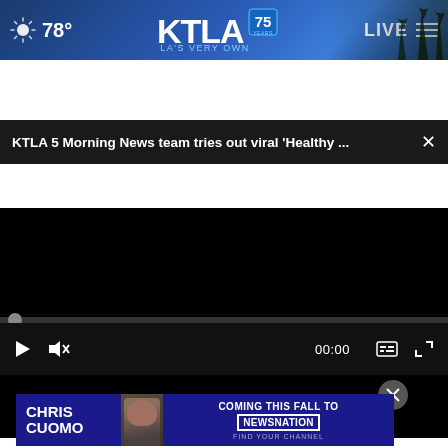78° KTLA 75 YEARS LA'S VERY OWN LIVE
KTLA 5 Morning News team tries out viral 'Healthy ...
[Figure (screenshot): Black video player area with playback controls: play button, mute icon, time display 00:00, captions and fullscreen icons]
[Figure (screenshot): Ad banner: CHRIS CUOMO COMING THIS FALL TO [NEWSNATION] FIND YOUR CHANNEL on dark blue background with photo of Chris Cuomo]